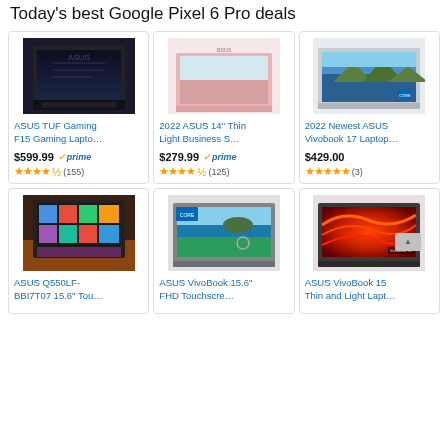Today's best Google Pixel 6 Pro deals
[Figure (photo): ASUS TUF Gaming F15 Gaming Laptop - black gaming laptop open at angle]
ASUS TUF Gaming F15 Gaming Lapto…
$599.99 ✓prime
★★★★½ (155)
[Figure (photo): 2022 ASUS 14 inch Thin Light Business laptop - pink/rose color]
2022 ASUS 14" Thin Light Business S…
$279.99 ✓prime
★★★★½ (125)
[Figure (photo): 2022 Newest ASUS Vivobook 17 Laptop - silver laptop]
2022 Newest ASUS Vivobook 17 Laptop…
$429.00
★★★★★ (3)
[Figure (photo): ASUS Q550LF-BBI7T07 15.6 Touch - laptop with colorful touch screen]
ASUS Q550LF-BBI7T07 15.6" Tou…
[Figure (photo): ASUS VivoBook 15.6 FHD Touchscreen laptop - grey laptop]
ASUS VivoBook 15.6" FHD Touchscre…
[Figure (photo): ASUS VivoBook 15 Thin and Light Laptop - red abstract design]
ASUS VivoBook 15 Thin and Light Lapt…